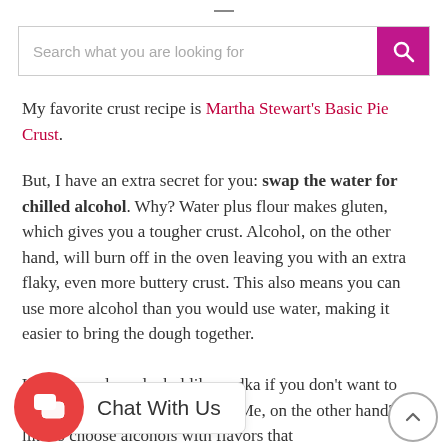[Figure (screenshot): Search bar with placeholder 'Search what you are looking for' and a magenta/pink search button with magnifying glass icon on the right.]
My favorite crust recipe is Martha Stewart's Basic Pie Crust.
But, I have an extra secret for you: swap the water for chilled alcohol. Why? Water plus flour makes gluten, which gives you a tougher crust. Alcohol, on the other hand, will burn off in the oven leaving you with an extra flaky, even more buttery crust. This also means you can use more alcohol than you would use water, making it easier to bring the dough together.
Use colorless alcohol like vodka if you don't want to impart any flavor to your crust. Me, on the other hand? I like to choose alcohols with flavors that complement...
[Figure (screenshot): Chat widget overlay with red circular chat icon showing two overlapping chat bubbles, and a white speech bubble saying 'Chat With Us'. A back-to-top circular button is in the bottom right corner.]